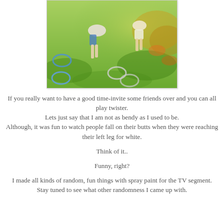[Figure (photo): Aerial view of children playing twister on grass with colored spray-painted circles (blue, white, orange) visible on the lawn. Children are crouching/reaching on the grass in bright sunlight.]
If you really want to have a good time-invite some friends over and you can all play twister.
Lets just say that I am not as bendy as I used to be.
Although, it was fun to watch people fall on their butts when they were reaching their left leg for white.

Think of it..

Funny, right?

I made all kinds of random, fun things with spray paint for the TV segment.
Stay tuned to see what other randomness I came up with.